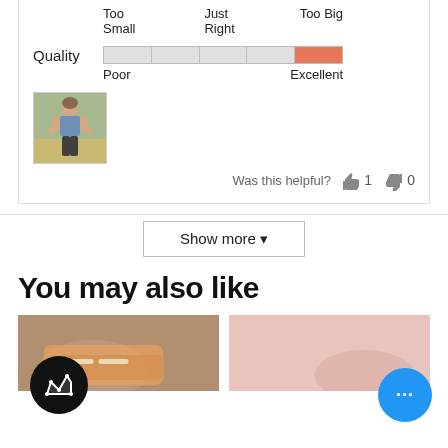[Figure (infographic): Rating bar for Quality showing 5 segments with last segment filled in orange/salmon color. Labels: Poor on left, Excellent on right.]
[Figure (photo): Small photo of a woman standing outdoors in athletic wear (blue tank top, dark leggings)]
Was this helpful? 1 0
Show more
You may also like
[Figure (photo): Partial product image - appears to be athletic shoes on a textured surface]
[Figure (photo): Partial product image - pink/mauve background with partial clothing item]